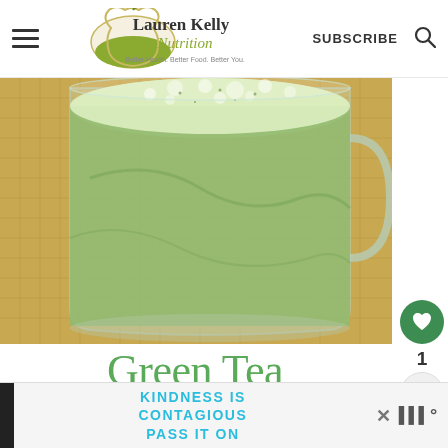Lauren Kelly Nutrition — Better Health. Better Food. Better You. | SUBSCRIBE
[Figure (photo): Close-up photo of a green tea matcha latte in a clear glass mug on a burlap surface, with frothy green-white surface and foamy bubbles]
Green Tea Matcha Latte
www.laurenkellynutrition.com
WHAT'S NEXT → Green Tea Matcha Chia...
KINDNESS IS CONTAGIOUS PASS IT ON